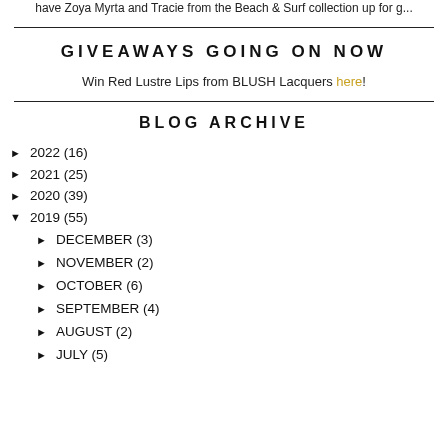have Zoya Myrta and Tracie from the Beach & Surf collection up for g...
GIVEAWAYS GOING ON NOW
Win Red Lustre Lips from BLUSH Lacquers here!
BLOG ARCHIVE
► 2022 (16)
► 2021 (25)
► 2020 (39)
▼ 2019 (55)
► DECEMBER (3)
► NOVEMBER (2)
► OCTOBER (6)
► SEPTEMBER (4)
► AUGUST (2)
► JULY (5)